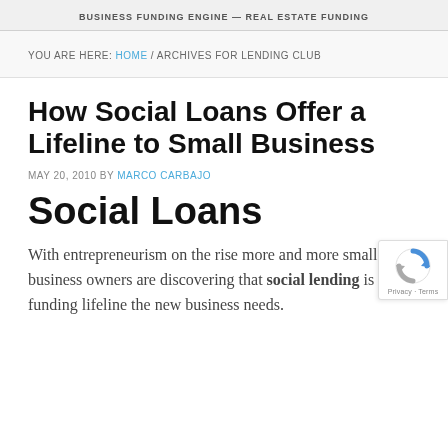BUSINESS FUNDING ENGINE — REAL ESTATE FUNDING
YOU ARE HERE: HOME / ARCHIVES FOR LENDING CLUB
How Social Loans Offer a Lifeline to Small Business
MAY 20, 2010 BY MARCO CARBAJO
Social Loans
With entrepreneurism on the rise more and more small business owners are discovering that social lending is the funding lifeline the new business needs.